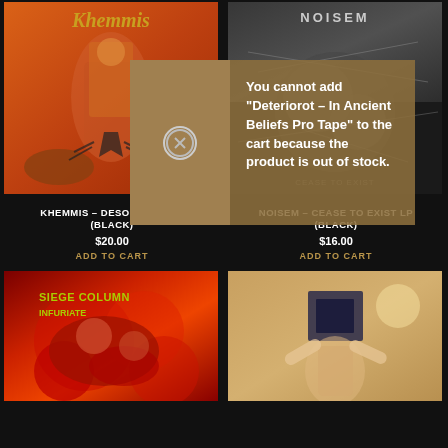[Figure (illustration): Khemmis - Desolation LP album cover: orange/red toned fantasy artwork with figures]
[Figure (illustration): Noisem - Cease to Exist LP album cover: black and white high contrast image]
You cannot add "Deteriorot – In Ancient Beliefs Pro Tape" to the cart because the product is out of stock.
KHEMMIS – DESOLATION LP (BLACK)
$20.00
ADD TO CART
NOISEM – CEASE TO EXIST LP (BLACK)
$16.00
ADD TO CART
[Figure (illustration): Death metal album cover with red gory imagery and yellow logo text]
[Figure (illustration): Album cover with tan/beige background showing figure with geometric shapes]